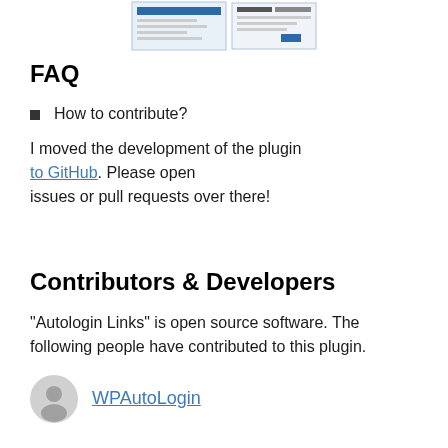[Figure (screenshot): Two small screenshot thumbnails of a plugin interface]
FAQ
How to contribute?
I moved the development of the plugin to GitHub. Please open issues or pull requests over there!
Contributors & Developers
“Autologin Links” is open source software. The following people have contributed to this plugin.
WPAutoLogin